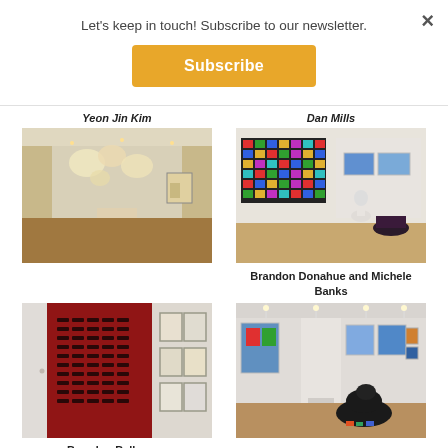Let's keep in touch! Subscribe to our newsletter.
Subscribe
Yeon Jin Kim
Dan Mills
[Figure (photo): Gallery interior with hanging sculptural works that appear as paper or fabric globes suspended from ceiling, wooden floor, white walls with framed artwork]
[Figure (photo): Gallery interior with colorful grid artwork on walls, a white sculptural figure and dark sculptural form on floor]
Brandon Donahue and Michele Banks
[Figure (photo): Gallery installation with dark red wall covered in a grid of small objects, framed works on adjacent white wall]
[Figure (photo): Gallery interior with large colorful artworks on walls, dark sculptural animal form on wooden floor]
Brandon Ballengee